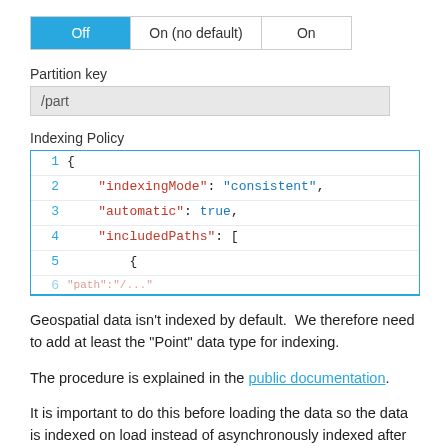[Figure (screenshot): Toggle bar with three options: Off (active/selected, blue background), On (no default), On]
Partition key
/part
Indexing Policy
[Figure (screenshot): Code editor showing JSON indexing policy with lines numbered 1-5+: 1: { 2: "indexingMode": "consistent", 3: "automatic": true, 4: "includedPaths": [ 5: {]
Geospatial data isn’t indexed by default.  We therefore need to add at least the “Point” data type for indexing.
The procedure is explained in the public documentation.
It is important to do this before loading the data so the data is indexed on load instead of asynchronously indexed after a